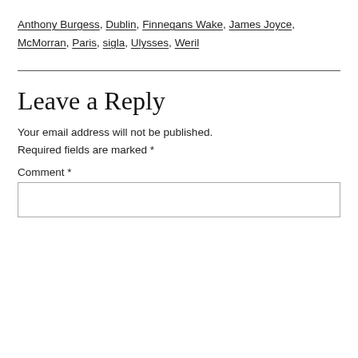Anthony Burgess, Dublin, Finnegans Wake, James Joyce, McMorran, Paris, sigla, Ulysses, Weril
Leave a Reply
Your email address will not be published. Required fields are marked *
Comment *